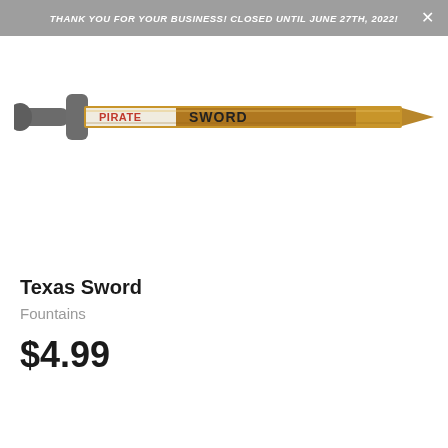THANK YOU FOR YOUR BUSINESS! CLOSED UNTIL JUNE 27TH, 2022!
[Figure (photo): A pirate sword / fountain firework product lying horizontally. It has a gray plastic handle and guard, with a long blade decorated with a label reading 'PIRATE SWORD' in bold red and black letters on a brown/gold background.]
Texas Sword
Fountains
$4.99